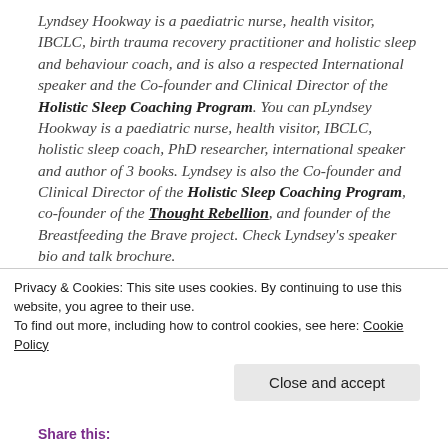Lyndsey Hookway is a paediatric nurse, health visitor, IBCLC, birth trauma recovery practitioner and holistic sleep and behaviour coach, and is also a respected International speaker and the Co-founder and Clinical Director of the Holistic Sleep Coaching Program. You can pLyndsey Hookway is a paediatric nurse, health visitor, IBCLC, holistic sleep coach, PhD researcher, international speaker and author of 3 books. Lyndsey is also the Co-founder and Clinical Director of the Holistic Sleep Coaching Program, co-founder of the Thought Rebellion, and founder of the Breastfeeding the Brave project. Check Lyndsey's speaker bio and talk brochure.
Privacy & Cookies: This site uses cookies. By continuing to use this website, you agree to their use.
To find out more, including how to control cookies, see here: Cookie Policy
Close and accept
Share this: